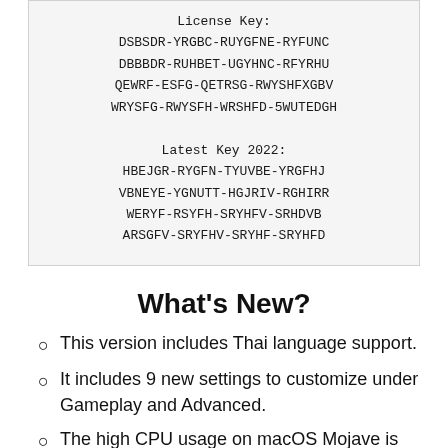License Key:
DSBSDR-YRGBC-RUYGFNE-RYFUNC
DBBBDR-RUHBET-UGYHNC-RFYRHU
QEWRF-ESFG-QETRSG-RWYSHFXGBV
WRYSFG-RWYSFH-WRSHFD-5WUTEDGH

Latest Key 2022:
HBEJGR-RYGFN-TYUVBE-YRGFHJ
VBNEYE-YGNUTT-HGJRIV-RGHIRR
WERYF-RSYFH-SRYHFV-SRHDVB
ARSGFV-SRYFHV-SRYHF-SRYHFD
What's New?
This version includes Thai language support.
It includes 9 new settings to customize under Gameplay and Advanced.
The high CPU usage on macOS Mojave is fixed in this release.